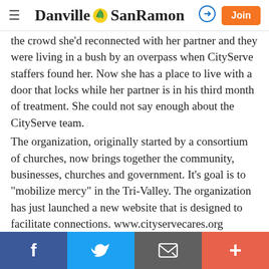Danville SanRamon
the crowd she'd reconnected with her partner and they were living in a bush by an overpass when CityServe staffers found her. Now she has a place to live with a door that locks while her partner is in his third month of treatment. She could not say enough about the CityServe team.
The organization, originally started by a consortium of churches, now brings together the community, businesses, churches and government. It’s goal is to “mobilize mercy” in the Tri-Valley. The organization has just launched a new website that is designed to facilitate connections. www.cityservecares.org
As has been typical, the city of Dublin bought a table and Mayor Melissa Hernandez attended along with City
Facebook  Twitter  Email  More